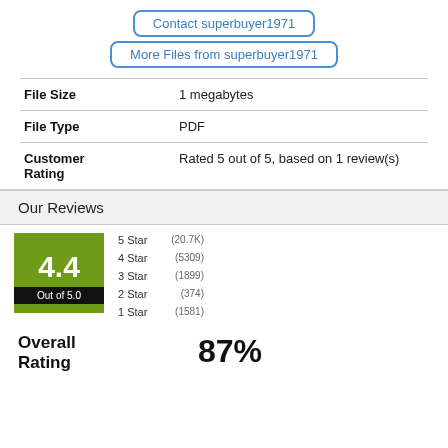Contact superbuyer1971
More Files from superbuyer1971
| Field | Value |
| --- | --- |
| File Size | 1 megabytes |
| File Type | PDF |
| Customer Rating | Rated 5 out of 5, based on 1 review(s) |
Our Reviews
[Figure (bar-chart): 4.4 Out of 5.0]
Overall Rating 87%